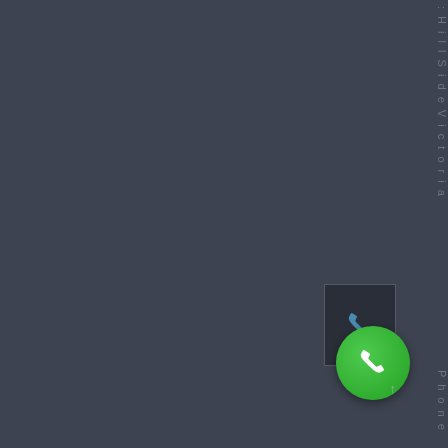[Figure (screenshot): Mobile app interface screenshot showing a dark gray background with vertical sidebar text on the right side reading partial characters, a phone icon in a dark box, and a large green phone/call button at the bottom right.]
H i l l S i d e V i c t o r i a
P h o n e
[Figure (other): Blue phone handset icon inside a dark bordered box]
[Figure (other): Green circular call button with white phone handset icon]